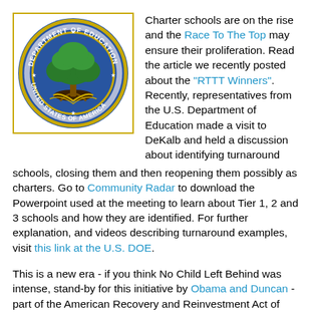[Figure (logo): Seal of the U.S. Department of Education — circular blue seal with gold border, green tree in center, text 'DEPARTMENT OF EDUCATION' and 'UNITED STATES OF AMERICA']
Charter schools are on the rise and the Race To The Top may ensure their proliferation. Read the article we recently posted about the "RTTT Winners". Recently, representatives from the U.S. Department of Education made a visit to DeKalb and held a discussion about identifying turnaround schools, closing them and then reopening them possibly as charters. Go to Community Radar to download the Powerpoint used at the meeting to learn about Tier 1, 2 and 3 schools and how they are identified. For further explanation, and videos describing turnaround examples, visit this link at the U.S. DOE.
This is a new era - if you think No Child Left Behind was intense, stand-by for this initiative by Obama and Duncan - part of the American Recovery and Reinvestment Act of